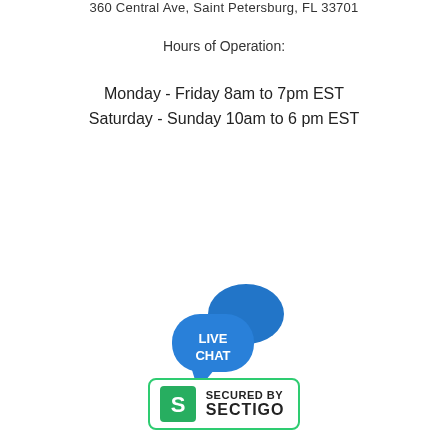360 Central Ave, Saint Petersburg, FL 33701
Hours of Operation:
Monday - Friday 8am to 7pm EST
Saturday - Sunday 10am to 6 pm EST
[Figure (logo): Live Chat icon with two overlapping blue speech bubbles, the foreground bubble containing the text LIVE CHAT in white bold letters]
[Figure (logo): Sectigo security badge with green border, green S logo on left, and text SECURED BY SECTIGO on right]